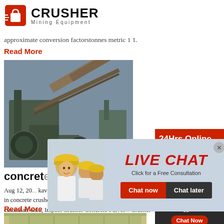[Figure (logo): Crusher Mining Equipment logo with red shopping bag icon and bold text]
approximate conversion factorstonnes metric 1 1.
Read More
[Figure (photo): Industrial crusher/conveyor machinery at a mining site]
concrete
Aug 12, 20... kavijverbeek. Mini concrete crushers for sale in concrete crusher rental in pa manganese crushe... cincinnati ohio, Impact Crusher Concrete Pulver... Crusher Williams Patent Crusher's Impact Crus... specifically designed for a wide range of applica... crushing and pulverizing concrete to limestone.
Read More
[Figure (photo): Live Chat overlay with workers in yellow hard hats, LIVE CHAT headline, Chat now / Chat later buttons, and customer service agent with headset on right side]
[Figure (infographic): 24Hrs Online sidebar with Need questions & suggestion, Chat Now button, Enquiry section, limingjlmofen@sina.com email]
[Figure (photo): Bottom strip showing partial view of a building or container structure]